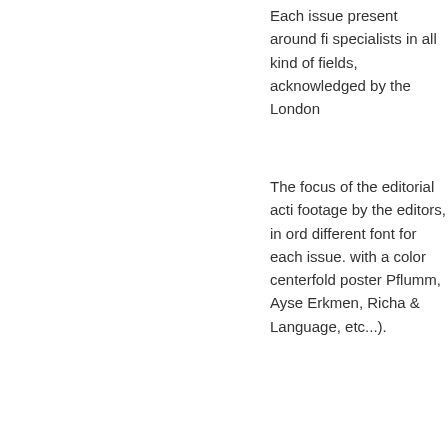Each issue present around fi specialists in all kind of fields, acknowledged by the London
The focus of the editorial acti footage by the editors, in ord different font for each issue. with a color centerfold poster Pflumm, Ayse Erkmen, Richa & Language, etc...).
Apart of the publishing work, panoramic bar, a wax museur perform or exhibit.
Broadening its network, the n Multiple author wallpainting f Lausanne, artists-in-residenc
Order here
Deprecated: link pages is de